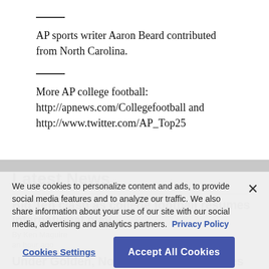AP sports writer Aaron Beard contributed from North Carolina.
More AP college football: http://apnews.com/Collegefootball and http://www.twitter.com/AP_Top25
Latest News
Big Ten clash as college football resumes international play
By Ken Maguire
an hour ago
Under Golden, No. 5 Notre Dame readies its defense
We use cookies to personalize content and ads, to provide social media features and to analyze our traffic. We also share information about your use of our site with our social media, advertising and analytics partners. Privacy Policy
Cookies Settings   Accept All Cookies